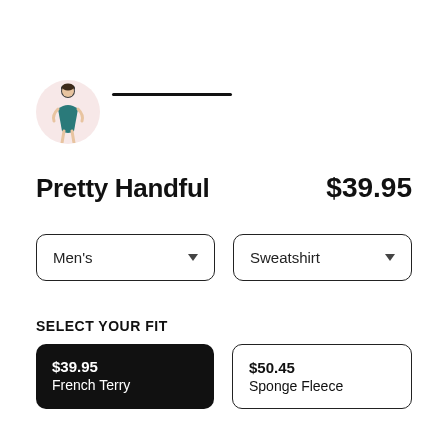[Figure (illustration): Small illustration of a girl in a teal dress with a pink circular background, used as a brand logo]
Pretty Handful
$39.95
Men's (dropdown)
Sweatshirt (dropdown)
SELECT YOUR FIT
$39.95
French Terry
$50.45
Sponge Fleece